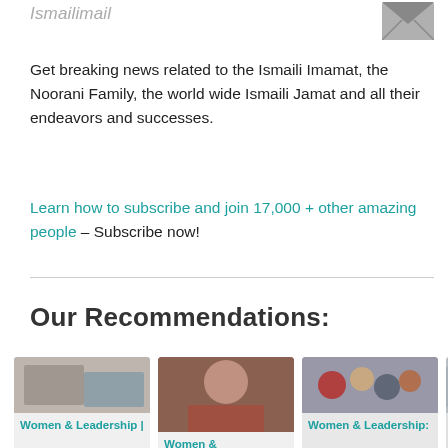Ismailimail
Get breaking news related to the Ismaili Imamat, the Noorani Family, the world wide Ismaili Jamat and all their endeavors and successes.
Learn how to subscribe and join 17,000 + other amazing people – Subscribe now!
Our Recommendations:
[Figure (photo): Card 1: photo of a person, labeled Women & Leadership |]
[Figure (photo): Card 2: photo of a woman in red jacket, labeled Women &]
[Figure (photo): Card 3: photo of group of people, labeled Women & Leadership:]
[Figure (photo): Card 4: partial photo, cropped at right edge]